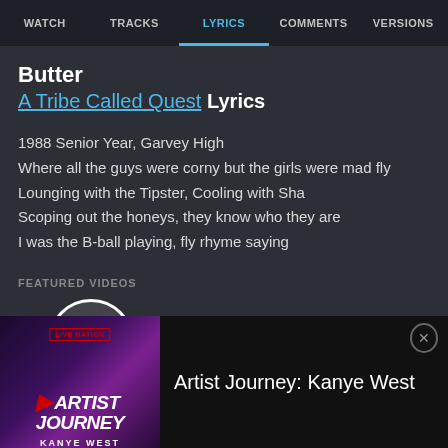WATCH | TRACKS | LYRICS | COMMENTS | VERSIONS
Butter
A Tribe Called Quest Lyrics
1988 Senior Year, Garvey High
Where all the guys were corny but the girls were mad fly
Lounging with the Tipster, Cooling with Sha
Scoping out the honeys, they know who they are
I was the B-ball playing, fly rhyme saying
FEATURED VIDEOS
[Figure (screenshot): Video play button — white circle with triangle play icon]
[Figure (screenshot): Artist Journey: Kanye West promotional banner with Live Nation badge and stylized text logo]